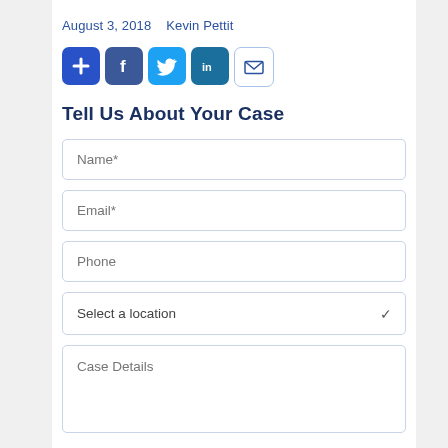August 3, 2018    Kevin Pettit
[Figure (infographic): Row of social sharing icon buttons: plus/add (blue), Facebook (dark blue), Twitter (light blue), LinkedIn (teal/dark blue), Email (white with blue envelope outline)]
Tell Us About Your Case
Name*
Email*
Phone
Select a location
Case Details